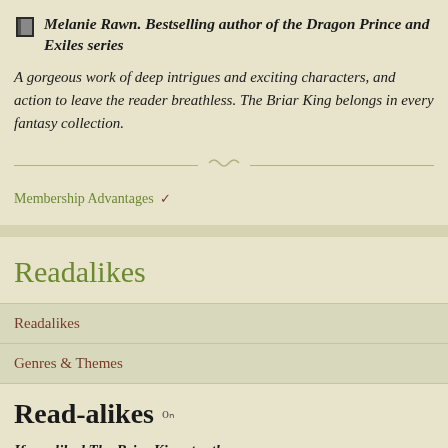Melanie Rawn. Bestselling author of the Dragon Prince and Exiles series
A gorgeous work of deep intrigues and exciting characters, and action to leave the reader breathless. The Briar King belongs in every fantasy collection.
Membership Advantages
Readalikes
Readalikes
Genres & Themes
Read-alikes
If you liked The Briar King, try these: